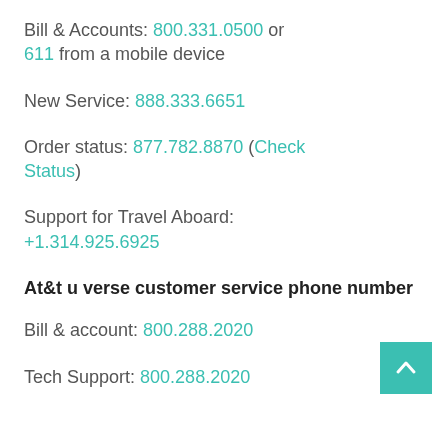Bill & Accounts: 800.331.0500 or 611 from a mobile device
New Service: 888.333.6651
Order status: 877.782.8870 (Check Status)
Support for Travel Aboard: +1.314.925.6925
At&t u verse customer service phone number
Bill & account: 800.288.2020
Tech Support: 800.288.2020